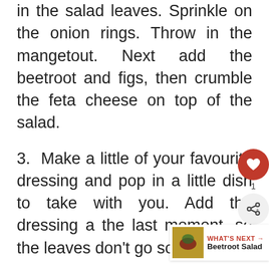in the salad leaves. Sprinkle on the onion rings. Throw in the mangetout. Next add the beetroot and figs, then crumble the feta cheese on top of the salad.
3. Make a little of your favourite dressing and pop in a little dish to take with you. Add the dressing at the last moment, so the leaves don't go soggy.
4. Enjoy during your lunch break. Prepare for envious
WHAT'S NEXT → Beetroot Salad